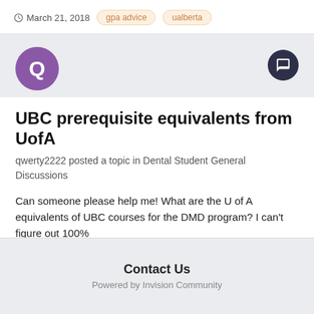March 21, 2018   gpa advice   ualberta
[Figure (illustration): Purple circle avatar with letter Q, and dark circle comment button on the right]
UBC prerequisite equivalents from UofA
qwerty2222 posted a topic in Dental Student General Discussions
Can someone please help me! What are the U of A equivalents of UBC courses for the DMD program? I can't figure out 100%
October 9, 2017   1 reply
dmd   prereqs   (and 2 more)
Contact Us
Powered by Invision Community